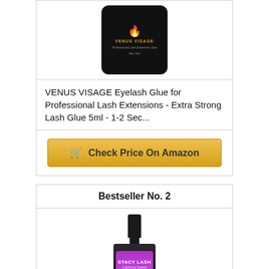[Figure (photo): VENUS VISAGE eyelash glue product in black square container with gold flame logo]
VENUS VISAGE Eyelash Glue for Professional Lash Extensions - Extra Strong Lash Glue 5ml - 1-2 Sec...
Check Price On Amazon
Bestseller No. 2
[Figure (photo): Stacy Lash Lightning Speed professional eyelash extension glue in black bottle with purple label]